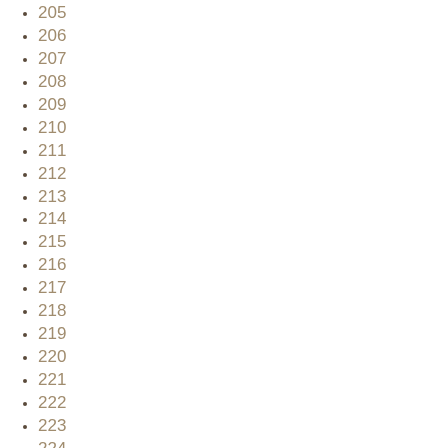205
206
207
208
209
210
211
212
213
214
215
216
217
218
219
220
221
222
223
224
225
226
227